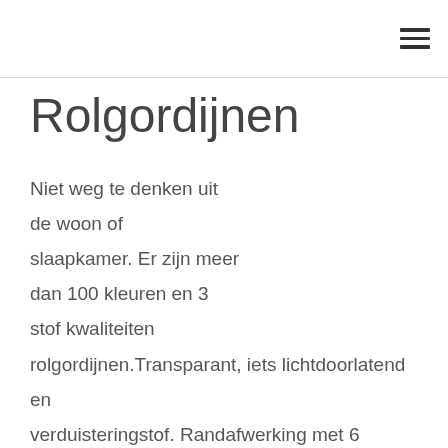≡
Rolgordijnen
Niet weg te denken uit de woon of slaapkamer. Er zijn meer dan 100 kleuren en 3 stof kwaliteiten rolgordijnen.Transparant, iets lichtdoorlatend en verduisteringstof. Randafwerking met 6 modellen schulp-kasteelranden zijn mogelijk bij rolgordijnen. Montage kan op en in